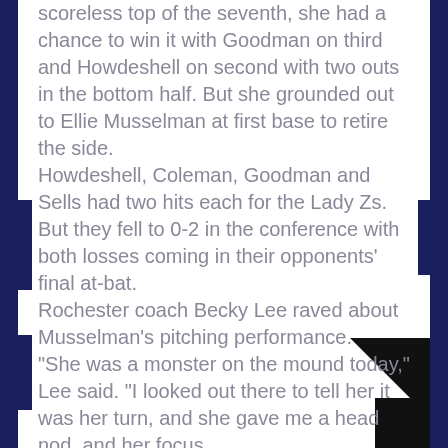scoreless top of the seventh, she had a chance to win it with Goodman on third and Howdeshell on second with two outs in the bottom half. But she grounded out to Ellie Musselman at first base to retire the side. Howdeshell, Coleman, Goodman and Sells had two hits each for the Lady Zs. But they fell to 0-2 in the conference with both losses coming in their opponents' final at-bat. Rochester coach Becky Lee raved about Musselman's pitching performance. "She was a monster on the mound today," Lee said. "I looked out there to tell her it was her turn, and she gave me a head nod, and her focus